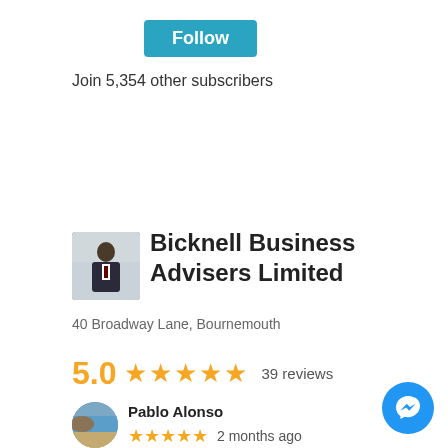[Figure (other): Blue Follow button]
Join 5,354 other subscribers
[Figure (other): Business logo thumbnail showing a person in a suit]
Bicknell Business Advisers Limited
40 Broadway Lane, Bournemouth
5.0  ★★★★★  39 reviews
[Figure (photo): Profile photo of Pablo Alonso showing a beach/coast scene]
Pablo Alonso
★★★★★  2 months ago